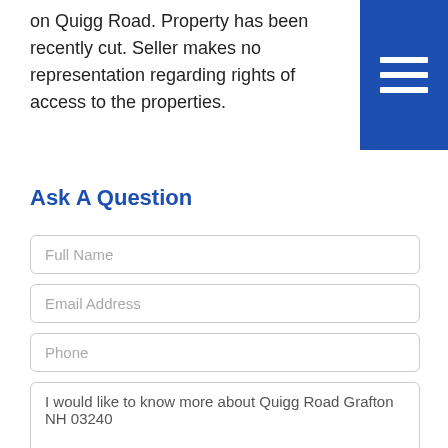on Quigg Road. Property has been recently cut. Seller makes no representation regarding rights of access to the properties.
[Figure (other): Blue hamburger menu icon in the top-right corner]
Ask A Question
Full Name
Email Address
Phone
I would like to know more about Quigg Road Grafton NH 03240